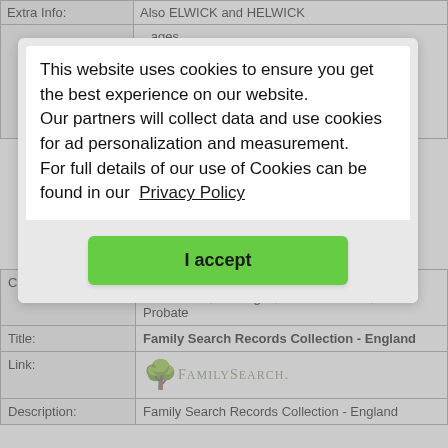| Label | Value |
| --- | --- |
| Extra Info: | Also ELWICK and HELWICK |
|  | ...ages,  ...arch  ...ch  ...and  ...t  ...ad  register transcripts. |
[Figure (screenshot): Cookie consent dialog overlay. Text: 'This website uses cookies to ensure you get the best experience on our website. Our partners will collect data and use cookies for ad personalization and measurement. For full details of our use of Cookies can be found in our Privacy Policy'. Button: 'I accept'.]
| Label | Value |
| --- | --- |
| Classification: | Baptisms, Bishops Transcripts, Burials / Cremations, Marriages, Parish Records, Wills / Probate |
| Title: | Family Search Records Collection - England |
| Link: | [FamilySearch logo] |
| Description: | Family Search Records Collection - England |